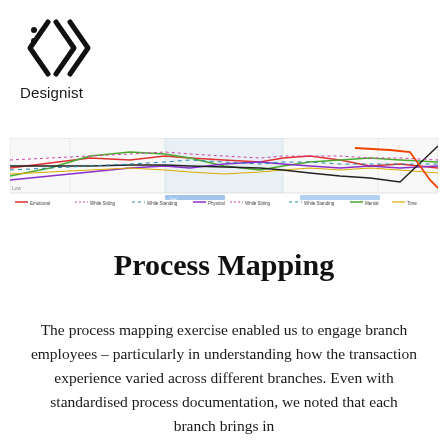[Figure (logo): Designist logo: angular double-arrow icon with two dots, above the text 'Designist']
[Figure (line-chart): Multi-line chart showing several colored lines (red, green, purple, yellow, orange, black) with a legend along the bottom. Lines show varying trends across a horizontal axis. A blue highlighted section appears in the middle-bottom area.]
Process Mapping
The process mapping exercise enabled us to engage branch employees – particularly in understanding how the transaction experience varied across different branches. Even with standardised process documentation, we noted that each branch brings in